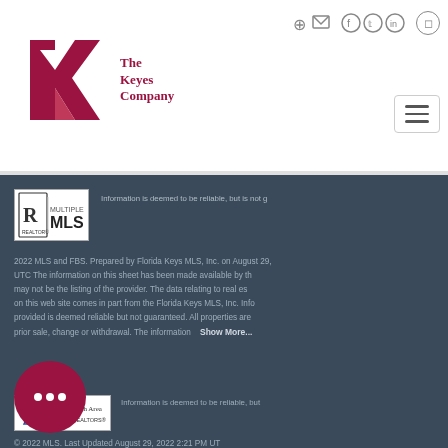[Figure (logo): The Keyes Company logo with red K geometric mark and text]
[Figure (logo): Social media icons: login, email, Facebook, Twitter, LinkedIn, Instagram]
[Figure (logo): Realtor MLS logo box]
Information is deemed to be reliable, but is not g
2022 MLS and FBS. Prepared by Florida Keys MLS, Inc. on August 29, UTC The information on this sheet has been made available by th may not be the listing of the provider. The data relating to real es on this web site comes in part from the Florida Keys MLS, Inc. Info provided is deemed reliable but not guaranteed. All properties are prior sale, change or withdrawal. The information   Show More...
[Figure (logo): Daytona Beach Area Association of Realtors logo]
Information is deemed to be reliable, but
© 2022 MLS. Last Updated August 29, 2022 2:21 PM UT information on this sheet has been made available by the MLS a